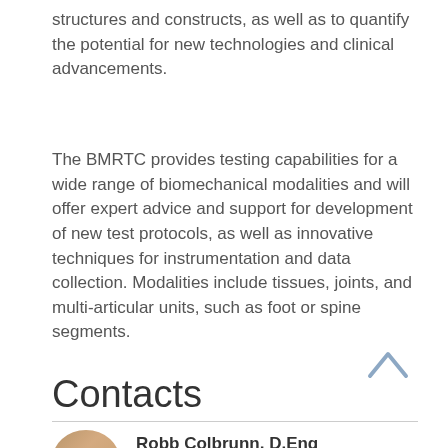structures and constructs, as well as to quantify the potential for new technologies and clinical advancements.
The BMRTC provides testing capabilities for a wide range of biomechanical modalities and will offer expert advice and support for development of new test protocols, as well as innovative techniques for instrumentation and data collection. Modalities include tissues, joints, and multi-articular units, such as foot or spine segments.
Contacts
Robb Colbrunn, D.Eng